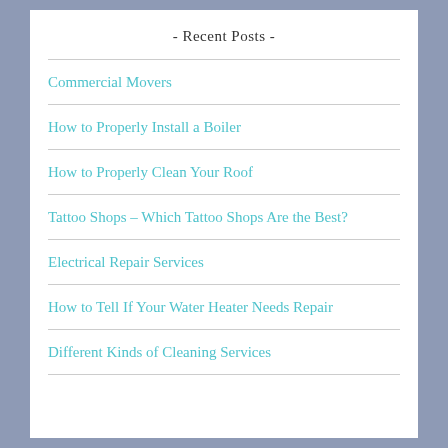- Recent Posts -
Commercial Movers
How to Properly Install a Boiler
How to Properly Clean Your Roof
Tattoo Shops – Which Tattoo Shops Are the Best?
Electrical Repair Services
How to Tell If Your Water Heater Needs Repair
Different Kinds of Cleaning Services